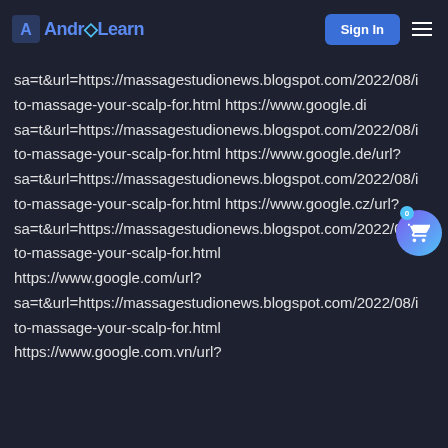AndroLearn | Sign In
sa=t&url=https://massagestudionews.blogspot.com/2022/08/i to-massage-your-scalp-for.html https://www.google.di sa=t&url=https://massagestudionews.blogspot.com/2022/08/i to-massage-your-scalp-for.html https://www.google.de/url? sa=t&url=https://massagestudionews.blogspot.com/2022/08/i to-massage-your-scalp-for.html https://www.google.cz/url? sa=t&url=https://massagestudionews.blogspot.com/2022/08/i to-massage-your-scalp-for.html https://www.google.com/url? sa=t&url=https://massagestudionews.blogspot.com/2022/08/i to-massage-your-scalp-for.html https://www.google.com.vn/url?